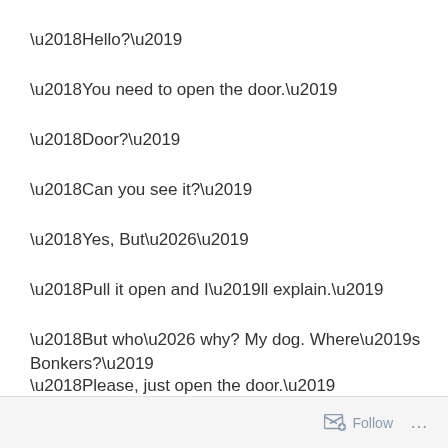‘Hello?’
‘You need to open the door.’
‘Door?’
‘Can you see it?’
‘Yes, But…’
‘Pull it open and I’ll explain.’
‘But who… why? My dog. Where’s Bonkers?’
‘Please, just open the door.’
Carol-Ann Strudel looked around. Her eyes must be off.
Follow ...